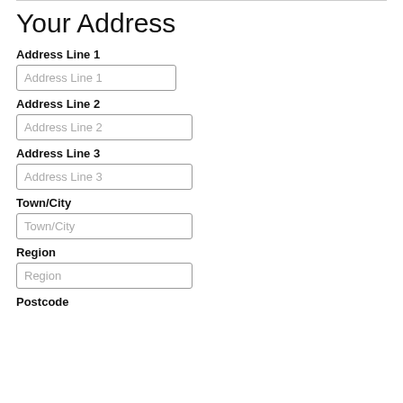Your Address
Address Line 1
Address Line 1
Address Line 2
Address Line 2
Address Line 3
Address Line 3
Town/City
Town/City
Region
Region
Postcode